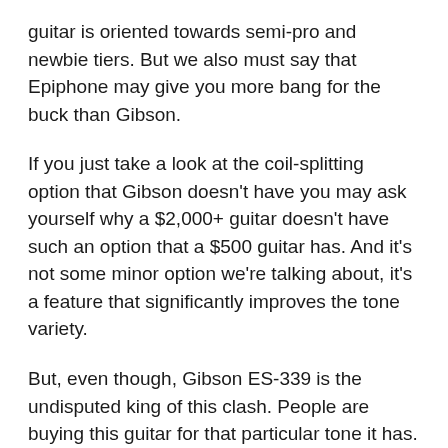guitar is oriented towards semi-pro and newbie tiers. But we also must say that Epiphone may give you more bang for the buck than Gibson.
If you just take a look at the coil-splitting option that Gibson doesn't have you may ask yourself why a $2,000+ guitar doesn't have such an option that a $500 guitar has. And it's not some minor option we're talking about, it's a feature that significantly improves the tone variety.
But, even though, Gibson ES-339 is the undisputed king of this clash. People are buying this guitar for that particular tone it has. The pickups are way better, craftsmanship and overall build quality are close to perfection.